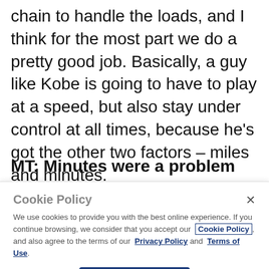chain to handle the loads, and I think for the most part we do a pretty good job. Basically, a guy like Kobe is going to have to play at a speed, but also stay under control at all times, because he's got the other two factors – miles and minutes.
MT: Minutes were a problem for Kobe last
Cookie Policy
We use cookies to provide you with the best online experience. If you continue browsing, we consider that you accept our Cookie Policy, and also agree to the terms of our Privacy Policy and Terms of Use.
I Accept